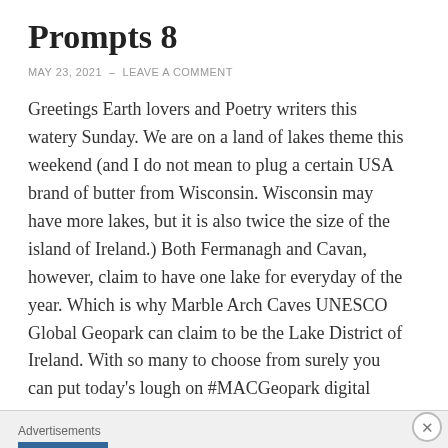Prompts 8
MAY 23, 2021  –  LEAVE A COMMENT
Greetings Earth lovers and Poetry writers this watery Sunday. We are on a land of lakes theme this weekend (and I do not mean to plug a certain USA brand of butter from Wisconsin. Wisconsin may have more lakes, but it is also twice the size of the island of Ireland.) Both Fermanagh and Cavan, however, claim to have one lake for everyday of the year. Which is why Marble Arch Caves UNESCO Global Geopark can claim to be the Lake District of Ireland. With so many to choose from surely you can put today's lough on #MACGeopark digital
Advertisements